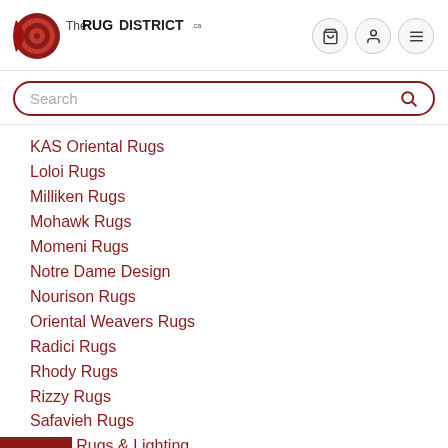[Figure (logo): The Rug District logo with a rolled rug graphic and text 'TheRUGDISTRICT.ca']
KAS Oriental Rugs
Loloi Rugs
Milliken Rugs
Mohawk Rugs
Momeni Rugs
Notre Dame Design
Nourison Rugs
Oriental Weavers Rugs
Radici Rugs
Rhody Rugs
Rizzy Rugs
Safavieh Rugs
Surya Rugs & Lighting
Trans-Ocean Import Rugs
United Weavers of America Rugs